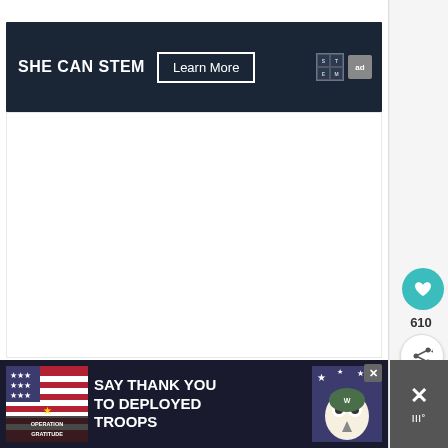to use.
[Figure (screenshot): SHE CAN STEM advertisement banner with dark navy background, white bold text 'SHE CAN STEM', a 'Learn More' button with white border, STEM grid logo and 'ad' badge on right.]
[Figure (screenshot): Large white empty content area below the SHE CAN STEM banner, likely a video or embedded content region.]
[Figure (screenshot): Social interaction sidebar with teal heart/like button, count '610', and share button with network icon.]
[Figure (screenshot): Bottom advertisement banner: Operation Gratitude 'SAY THANK YOU TO DEPLOYED TROOPS' with patriotic imagery, close button (X), and right sidebar with X dismiss control.]